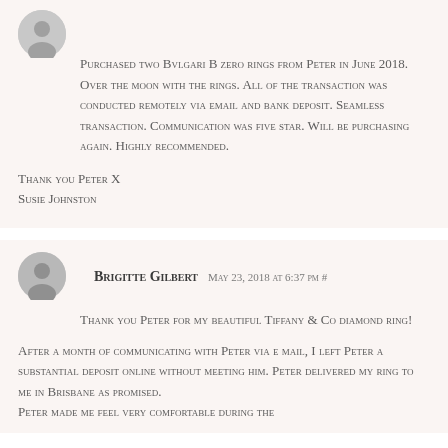Purchased two Bvlgari B zero rings from Peter in June 2018. Over the moon with the rings. All of the transaction was conducted remotely via email and bank deposit. Seamless transaction. Communication was five star. Will be purchasing again. Highly recommended.
Thank you Peter X
Susie Johnston
Brigitte Gilbert May 23, 2018 at 6:37 pm #
Thank you Peter for my beautiful Tiffany & Co diamond ring!
After a month of communicating with Peter via e mail, I left Peter a substantial deposit online without meeting him. Peter delivered my ring to me in Brisbane as promised. Peter made me feel very comfortable during the